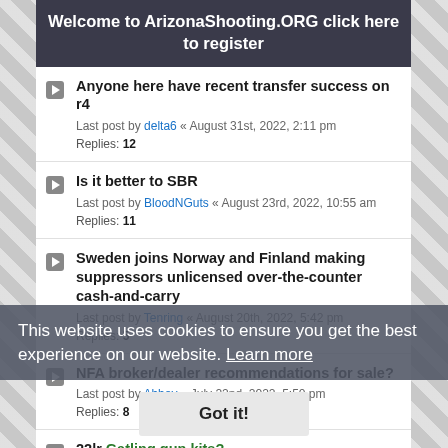Welcome to ArizonaShooting.ORG click here to register
Anyone here have recent transfer success on r4
Last post by delta6 « August 31st, 2022, 2:11 pm
Replies: 12
Is it better to SBR
Last post by BloodNGuts « August 23rd, 2022, 10:55 am
Replies: 11
Sweden joins Norway and Finland making suppressors unlicensed over-the-counter cash-and-carry
Last post by Tenring « August 20th, 2022, 5:42 pm
Replies: 5
NFA broker/dealer recommendations for sale?
Last post by Abbey « July 22nd, 2022, 5:50 pm
Replies: 8
22lr Gatling gun kits?
Last post by trickyrick « July 10th, 2022, 10:46 am
Replies: 3
This website uses cookies to ensure you get the best experience on our website. Learn more
Got it!